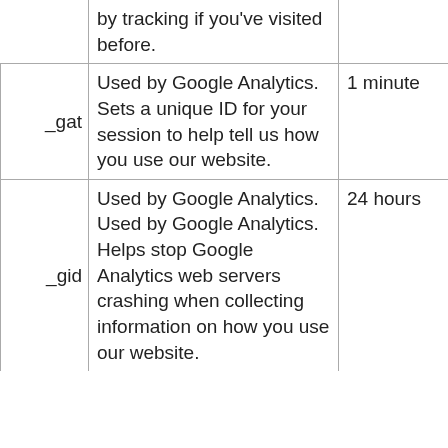| Cookie name | Description | Duration |
| --- | --- | --- |
|  | by tracking if you've visited before. |  |
| _gat | Used by Google Analytics. Sets a unique ID for your session to help tell us how you use our website. | 1 minute |
| _gid | Used by Google Analytics. Used by Google Analytics. Helps stop Google Analytics web servers crashing when collecting information on how you use our website. | 24 hours |